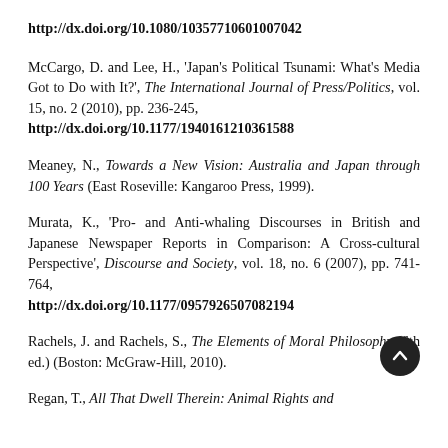http://dx.doi.org/10.1080/10357710601007042
McCargo, D. and Lee, H., 'Japan's Political Tsunami: What's Media Got to Do with It?', The International Journal of Press/Politics, vol. 15, no. 2 (2010), pp. 236-245, http://dx.doi.org/10.1177/1940161210361588
Meaney, N., Towards a New Vision: Australia and Japan through 100 Years (East Roseville: Kangaroo Press, 1999).
Murata, K., 'Pro- and Anti-whaling Discourses in British and Japanese Newspaper Reports in Comparison: A Cross-cultural Perspective', Discourse and Society, vol. 18, no. 6 (2007), pp. 741-764, http://dx.doi.org/10.1177/0957926507082194
Rachels, J. and Rachels, S., The Elements of Moral Philosophy (6th ed.) (Boston: McGraw-Hill, 2010).
Regan, T., All That Dwell Therein: Animal Rights and